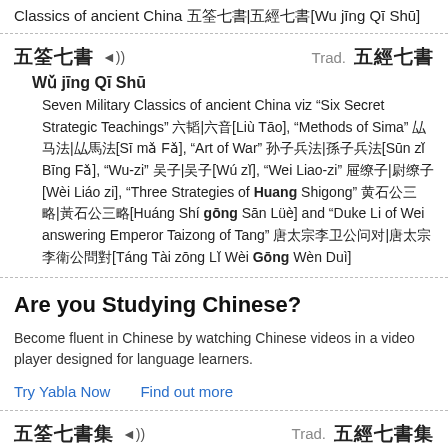Classics of ancient China 🀫🀫🀫🀫|🀫🀫🀫🀫[Wu jīng Qī Shū]
🀫🀫🀫🀫 🔊 Trad. 🀫🀫🀫🀫
Wǔ jīng Qī Shū
Seven Military Classics of ancient China viz "Six Secret Strategic Teachings" 🀫🀫|🀫🀫[Liù Tāo], "Methods of Sima" 🀫🀫🀫|🀫🀫🀫[Sī mǎ Fǎ], "Art of War" 🀫🀫🀫🀫|🀫🀫🀫🀫[Sūn zǐ Bīng Fǎ], "Wu-zi" 🀫🀫|🀫🀫[Wú zǐ], "Wei Liao-zi" 🀫🀫🀫|🀫🀫🀫[Wèi Liáo zi], "Three Strategies of Huang Shigong" 🀫🀫🀫🀫🀫|🀫🀫🀫🀫🀫[Huáng Shí gōng Sān Lüè] and "Duke Li of Wei answering Emperor Taizong of Tang" 🀫🀫🀫🀫🀫🀫🀫🀫|🀫🀫🀫🀫🀫🀫🀫🀫[Táng Tài zōng Lǐ Wèi Gōng Wèn Duì]
Are you Studying Chinese?
Become fluent in Chinese by watching Chinese videos in a video player designed for language learners.
Try Yabla Now    Find out more
🀫🀫🀫🀫🀫 🔊 Trad. 🀫🀫🀫🀫🀫